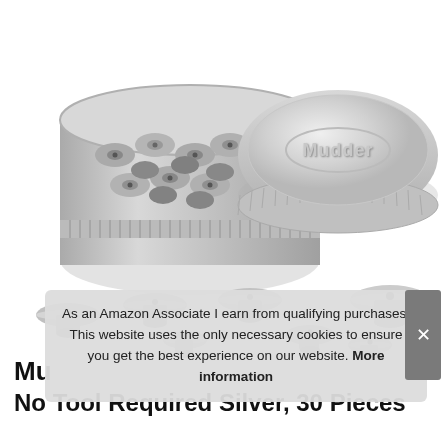[Figure (photo): Product photo showing a Mudder brand round metal tin container (open, filled with silver locking pin backs/locking pin keepers) and its lid beside it (with Mudder logo embossed), plus several individual silver locking pin backs scattered below.]
As an Amazon Associate I earn from qualifying purchases. This website uses the only necessary cookies to ensure you get the best experience on our website. More information
Mu
No Tool Required Silver, 30 Pieces